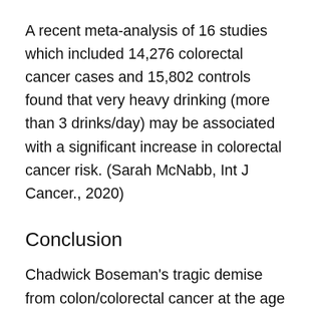A recent meta-analysis of 16 studies which included 14,276 colorectal cancer cases and 15,802 controls found that very heavy drinking (more than 3 drinks/day) may be associated with a significant increase in colorectal cancer risk. (Sarah McNabb, Int J Cancer., 2020)
Conclusion
Chadwick Boseman's tragic demise from colon/colorectal cancer at the age of 43 has raised awareness about the risk of developing this disease earlier in life (with minimal symptoms in early stages). If you have a family history of cancer, get a genetic